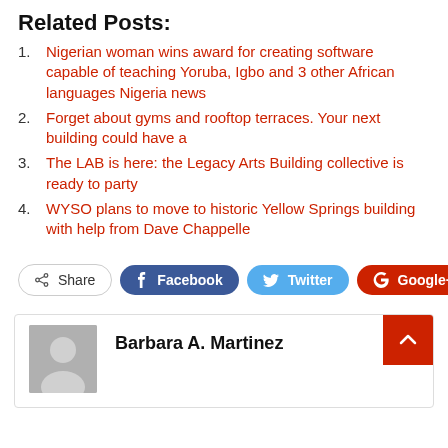Related Posts:
Nigerian woman wins award for creating software capable of teaching Yoruba, Igbo and 3 other African languages Nigeria news
Forget about gyms and rooftop terraces. Your next building could have a
The LAB is here: the Legacy Arts Building collective is ready to party
WYSO plans to move to historic Yellow Springs building with help from Dave Chappelle
[Figure (other): Social share buttons: Share, Facebook, Twitter, Google+, and a plus button]
[Figure (other): Author card with grey avatar placeholder and name Barbara A. Martinez, with red scroll-to-top button]